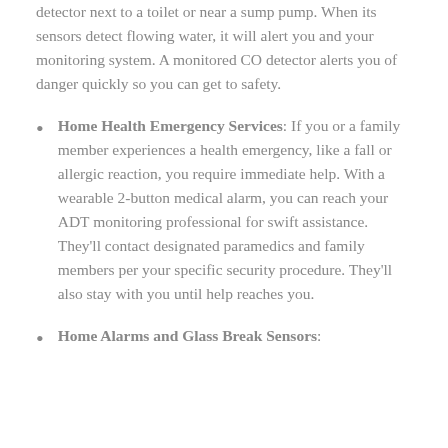detector next to a toilet or near a sump pump. When its sensors detect flowing water, it will alert you and your monitoring system. A monitored CO detector alerts you of danger quickly so you can get to safety.
Home Health Emergency Services: If you or a family member experiences a health emergency, like a fall or allergic reaction, you require immediate help. With a wearable 2-button medical alarm, you can reach your ADT monitoring professional for swift assistance. They'll contact designated paramedics and family members per your specific security procedure. They'll also stay with you until help reaches you.
Home Alarms and Glass Break Sensors: